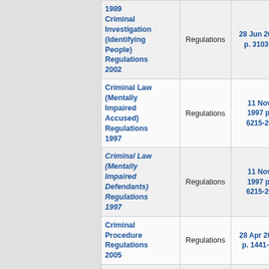| Name | Type | Date/Page | Icons |
| --- | --- | --- | --- |
| 1989 Criminal Investigation (Identifying People) Regulations 2002 | Regulations | 28 Jun 2002 p. 3103-5 | PDF W |
| Criminal Law (Mentally Impaired Accused) Regulations 1997 | Regulations | 11 Nov 1997 p. 6215-20 | PDF W |
| Criminal Law (Mentally Impaired Defendants) Regulations 1997 | Regulations | 11 Nov 1997 p. 6215-20 | PDF W |
| Criminal Procedure Regulations 2005 | Regulations | 28 Apr 2005 p. 1441-82 | PDF W |
| Criminal Procedure Rules 2005 | Rules | 29 Apr 2005 p. 1885-964 | PDF W |
| Cross-border Justice Regulations 2009 | Regulations | 28 Oct 2009 p. 4225-302 | PDF W |
| Curriculum Council ... |  | 23 Dec | PDF W |